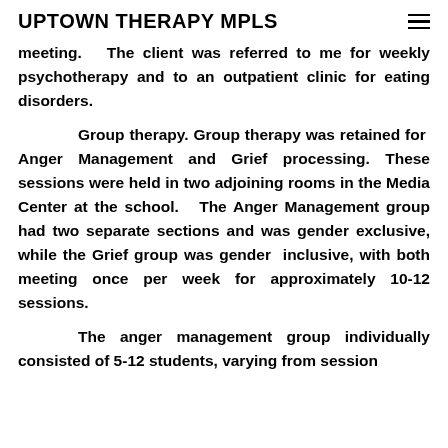UPTOWN THERAPY MPLS
meeting.   The client was referred to me for weekly psychotherapy and to an outpatient clinic for eating disorders.
Group therapy. Group therapy was retained for Anger Management and Grief processing. These sessions were held in two adjoining rooms in the Media Center at the school.  The Anger Management group had two separate sections and was gender exclusive, while the Grief group was gender inclusive, with both meeting once per week for approximately 10-12 sessions.
The anger management group individually consisted of 5-12 students, varying from session